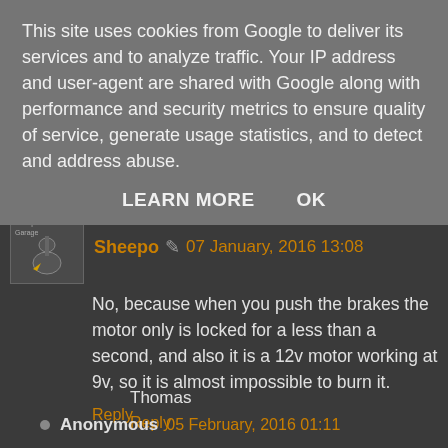This site uses cookies from Google to deliver its services and to analyze traffic. Your IP address and user-agent are shared with Google along with performance and security metrics to ensure quality of service, generate usage statistics, and to detect and address abuse.
LEARN MORE   OK
Thomas
Reply
Sheepo  07 January, 2016 13:08
No, because when you push the brakes the motor only is locked for a less than a second, and also it is a 12v motor working at 9v, so it is almost impossible to burn it.
Reply
Anonymous  05 February, 2016 01:11